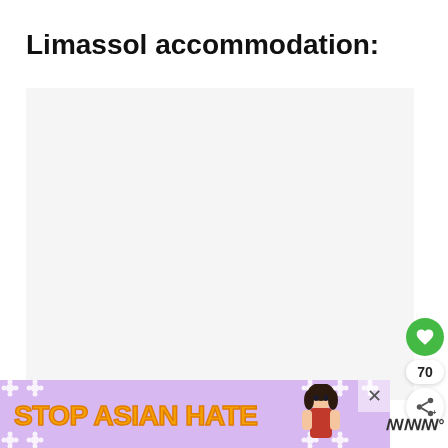Limassol accommodation:
[Figure (other): Empty light gray content/image placeholder box]
[Figure (infographic): Social media UI overlay: green heart/favorite button, count badge showing 70, and share button with plus icon]
[Figure (infographic): Advertisement banner with purple floral background showing 'STOP ASIAN HATE' text in orange/yellow bold font with an illustrated character, with an X close button]
70